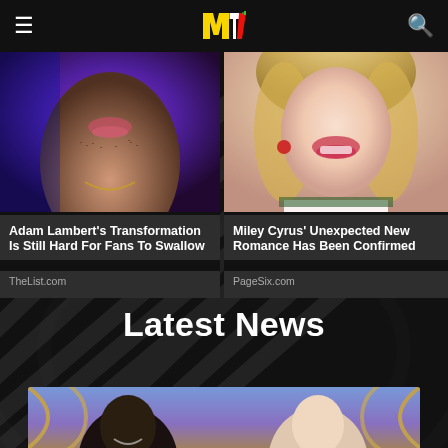MTV
[Figure (photo): Close-up photo of Adam Lambert's face with stubble and necklace against purple/pink background]
Adam Lambert's Transformation Is Still Hard For Fans To Swallow
TheList.com
[Figure (photo): Close-up photo of Miley Cyrus smiling with blonde wavy hair and red earrings]
Miley Cyrus' Unexpected New Romance Has Been Confirmed
PageSix.com
Latest News
[Figure (photo): Photo of two people at what appears to be a game show set with gold/circular decorations and purple/blue background]